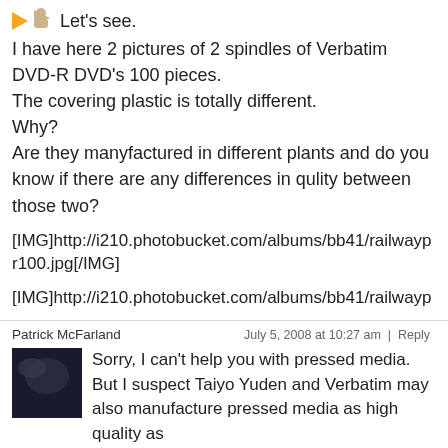[Figure (illustration): Two small orange/tan icons: a right-pointing chevron arrow and a person/avatar icon]
Let's see.
I have here 2 pictures of 2 spindles of Verbatim DVD-R DVD's 100 pieces.
The covering plastic is totally different.
Why?
Are they manyfactured in different plants and do you know if there are any differences in qulity between those two?
[IMG]http://i210.photobucket.com/albums/bb41/railwayp r100.jpg[/IMG]
[IMG]http://i210.photobucket.com/albums/bb41/railwayp
Patrick McFarland
July 5, 2008 at 10:27 am  |  Reply
Sorry, I can't help you with pressed media. But I suspect Taiyo Yuden and Verbatim may also manufacture pressed media as high quality as